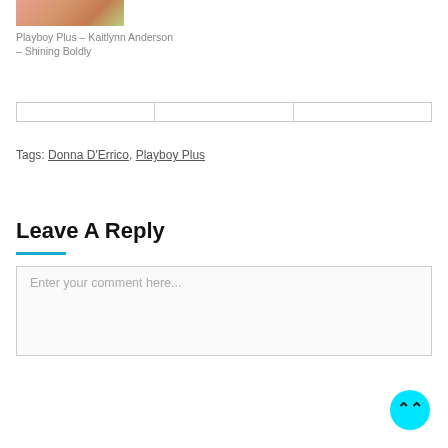[Figure (photo): Close-up photo thumbnail showing skin tones and warm colors]
Playboy Plus – Kaitlynn Anderson – Shining Boldly
|  |  |  |
| --- | --- | --- |
|   |   |   |
Tags: Donna D'Errico, Playboy Plus
Leave A Reply
Enter your comment here...
[Figure (other): Cyan circular scroll-to-top button with double chevron up arrow]